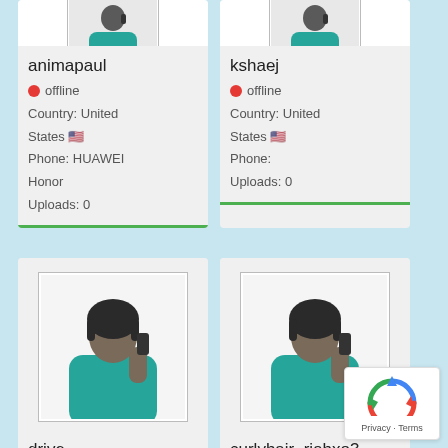[Figure (screenshot): Partial user profile card for animapaul showing avatar at top (cropped)]
[Figure (screenshot): Partial user profile card for kshaej showing avatar at top (cropped)]
animapaul
🔴 offline
Country: United States 🇺🇸
Phone: HUAWEI Honor
Uploads: 0
kshaej
🔴 offline
Country: United States 🇺🇸
Phone:
Uploads: 0
[Figure (illustration): Avatar illustration of a person with dark hair wearing teal shirt, talking on phone - for user 'drive']
drive
[Figure (illustration): Avatar illustration of a person with dark hair wearing teal shirt, talking on phone - for user 'curlyhair_riahxo3']
curlyhair_riahxo3